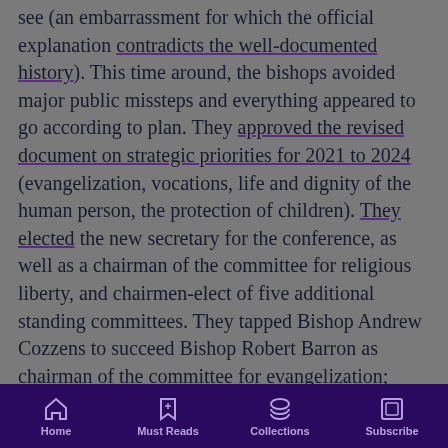see (an embarrassment for which the official explanation contradicts the well-documented history). This time around, the bishops avoided major public missteps and everything appeared to go according to plan. They approved the revised document on strategic priorities for 2021 to 2024 (evangelization, vocations, life and dignity of the human person, the protection of children). They elected the new secretary for the conference, as well as a chairman of the committee for religious liberty, and chairmen-elect of five additional standing committees. They tapped Bishop Andrew Cozzens to succeed Bishop Robert Barron as chairman of the committee for evangelization; Cozzens, the auxiliary bishop of St. Paul-Minneapolis, is known for his sympathy toward the neo-traditionalist Priestly Fraternity of St. Peter and the Latin Mass, and...
Home | Must Reads | Collections | Subscribe